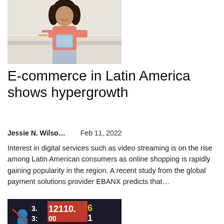[Figure (photo): A young woman with long dark curly hair sitting on a white couch, smiling, holding a credit card in one hand and a tablet in the other hand, wearing a pink top.]
E-commerce in Latin America shows hypergrowth
Jessie N. Wilso…    Feb 11, 2022
Interest in digital services such as video streaming is on the rise among Latin American consumers as online shopping is rapidly gaining popularity in the region. A recent study from the global payment solutions provider EBANX predicts that…
[Figure (photo): A woman in a blue sports uniform curling, with a scoreboard showing numbers including 2110 in the background.]